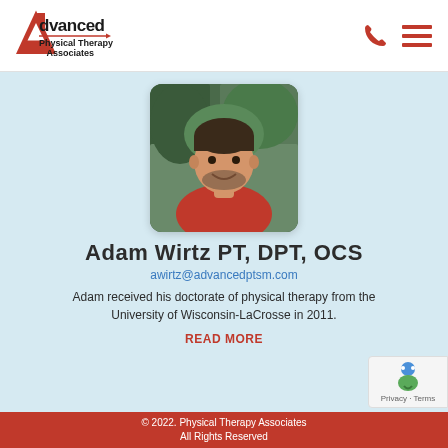Advanced Physical Therapy Associates
[Figure (photo): Headshot of Adam Wirtz wearing a red polo shirt, smiling, with green trees in background. Rounded rectangle photo.]
Adam Wirtz PT, DPT, OCS
awirtz@advancedptsm.com
Adam received his doctorate of physical therapy from the University of Wisconsin-LaCrosse in 2011.
READ MORE
[Figure (logo): reCAPTCHA badge with robot icon and Privacy - Terms text]
© 2022. Physical Therapy Associates
All Rights Reserved